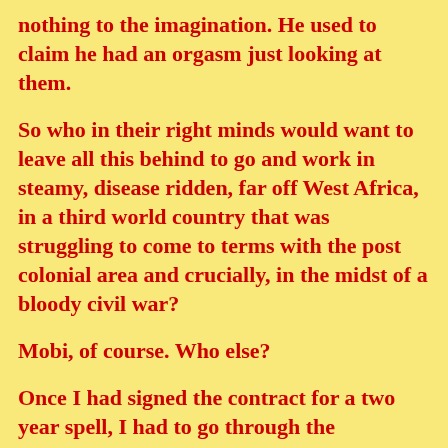nothing to the imagination. He used to claim he had an orgasm just looking at them.
So who in their right minds would want to leave all this behind to go and work in steamy, disease ridden, far off West Africa, in a third world country that was struggling to come to terms with the post colonial area and crucially, in the midst of a bloody civil war?
Mobi, of course. Who else?
Once I had signed the contract for a two year spell, I had to go through the ‘processing’ procedures, (visa, vaccinations, anti malarial medication and so on), which would take